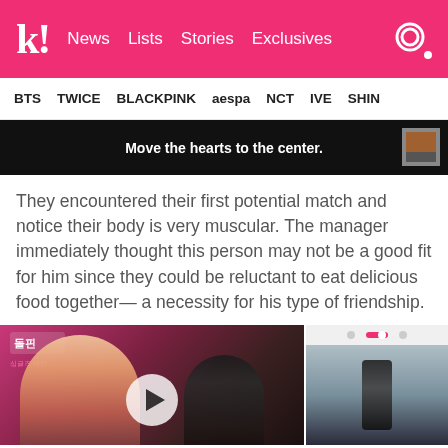k! News  Lists  Stories  Exclusives
BTS  TWICE  BLACKPINK  aespa  NCT  IVE  SHINee
[Figure (screenshot): Video still with caption text 'Move the hearts to the center.' on black background with small thumbnail in corner]
They encountered their first potential match and notice their body is very muscular. The manager immediately thought this person may not be a good fit for him since they could be reluctant to eat delicious food together— a necessity for his type of friendship.
[Figure (screenshot): Video still showing two people, one with blonde hair, on a pink background, with a play button overlay. A side panel shows a mobile app interface.]